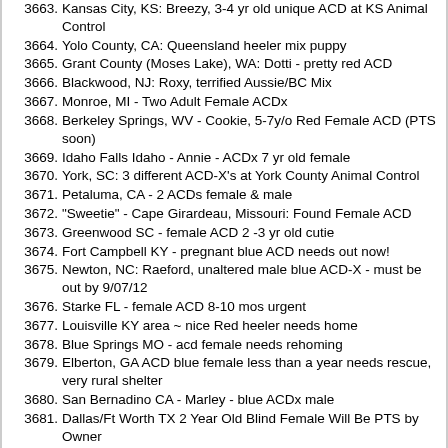3663. Kansas City, KS: Breezy, 3-4 yr old unique ACD at KS Animal Control
3664. Yolo County, CA: Queensland heeler mix puppy
3665. Grant County (Moses Lake), WA: Dotti - pretty red ACD
3666. Blackwood, NJ: Roxy, terrified Aussie/BC Mix
3667. Monroe, MI - Two Adult Female ACDx
3668. Berkeley Springs, WV - Cookie, 5-7y/o Red Female ACD (PTS soon)
3669. Idaho Falls Idaho - Annie - ACDx 7 yr old female
3670. York, SC: 3 different ACD-X's at York County Animal Control
3671. Petaluma, CA - 2 ACDs female & male
3672. "Sweetie" - Cape Girardeau, Missouri: Found Female ACD
3673. Greenwood SC - female ACD 2 -3 yr old cutie
3674. Fort Campbell KY - pregnant blue ACD needs out now!
3675. Newton, NC: Raeford, unaltered male blue ACD-X - must be out by 9/07/12
3676. Starke FL - female ACD 8-10 mos urgent
3677. Louisville KY area ~ nice Red heeler needs home
3678. Blue Springs MO - acd female needs rehoming
3679. Elberton, GA ACD blue female less than a year needs rescue, very rural shelter
3680. San Bernadino CA - Marley - blue ACDx male
3681. Dallas/Ft Worth TX 2 Year Old Blind Female Will Be PTS by Owner
3682. Louisville KY - Noodles - ACDx
3683. Lebanon KY - PB ACD male - critical - weds pts
3684. Winder GA - ACDx male 2-5yr old - urg by Wed